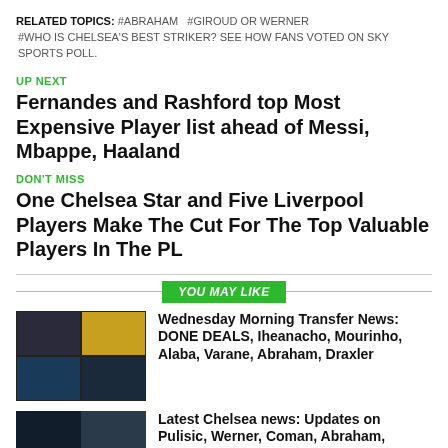RELATED TOPICS: #ABRAHAM  #GIROUD OR WERNER #WHO IS CHELSEA'S BEST STRIKER? SEE HOW FANS VOTED ON SKY SPORTS POLL.
UP NEXT
Fernandes and Rashford top Most Expensive Player list ahead of Messi, Mbappe, Haaland
DON'T MISS
One Chelsea Star and Five Liverpool Players Make The Cut For The Top Valuable Players In The PL
YOU MAY LIKE
[Figure (photo): Grid of four football player photos]
Wednesday Morning Transfer News: DONE DEALS, Iheanacho, Mourinho, Alaba, Varane, Abraham, Draxler
[Figure (photo): Chelsea News Live thumbnail with two football players]
Latest Chelsea news: Updates on Pulisic, Werner, Coman, Abraham, Jorginho and others